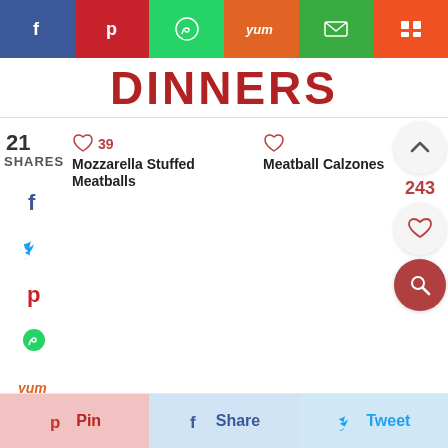[Figure (screenshot): Social share bar with icons: Facebook (blue), Pinterest (red), WhatsApp (green), Yummly (orange), Email (green), Mix (orange-red)]
DINNERS
21
SHARES
[Figure (screenshot): Facebook icon (dark blue f)]
[Figure (screenshot): Twitter bird icon (blue)]
[Figure (screenshot): Pinterest icon (red p)]
[Figure (screenshot): WhatsApp icon (green)]
[Figure (screenshot): Yummly icon (orange yum text)]
[Figure (screenshot): Email icon (green envelope)]
Mozzarella Stuffed Meatballs
39
Meatball Calzones
243
MORE •••
[Figure (screenshot): Bottom share buttons: Pin, Share, Tweet]